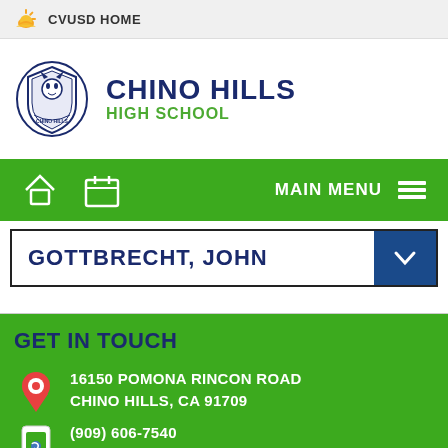CVUSD HOME
CHINO HILLS HIGH SCHOOL
MAIN MENU
GOTTBRECHT, JOHN
GET IN TOUCH
16150 POMONA RINCON ROAD
CHINO HILLS, CA 91709
(909) 606-7540